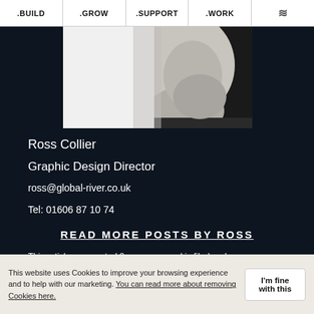.BUILD  .GROW  .SUPPORT  .WORK
[Figure (photo): Black and white cropped portrait photo of a person, showing the side/top of the head and chin area]
Ross Collier
Graphic Design Director
ross@global-river.co.uk
Tel: 01606 87 10 74
READ MORE POSTS BY ROSS
This article was posted 8 years ago and is filed under Global River News, Graphic Design, Prezi Design.
This website uses Cookies to improve your browsing experience and to help with our marketing. You can read more about removing Cookies here.  I'm fine with this